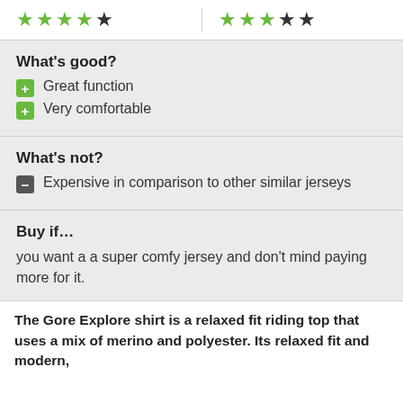[Figure (other): Two groups of 5-star ratings: left group shows 4 green filled stars and 1 dark outline star; right group shows 3 green filled stars and 2 dark stars]
What's good?
Great function
Very comfortable
What's not?
Expensive in comparison to other similar jerseys
Buy if…
you want a a super comfy jersey and don't mind paying more for it.
The Gore Explore shirt is a relaxed fit riding top that uses a mix of merino and polyester. Its relaxed fit and modern,